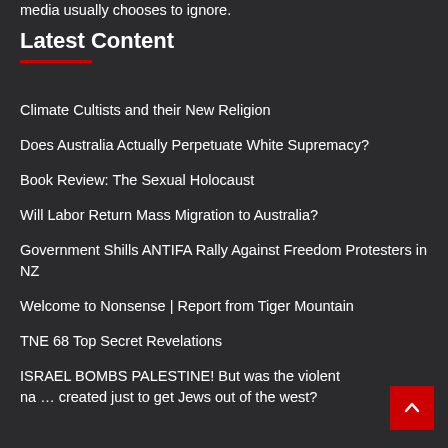media usually chooses to ignore.
Latest Content
Climate Cultists and their New Religion
Does Australia Actually Perpetuate White Supremacy?
Book Review: The Sexual Holocaust
Will Labor Return Mass Migration to Australia?
Government Shills ANTIFA Rally Against Freedom Protesters in NZ
Welcome to Nonsense | Report from Tiger Mountain
TNE 68 Top Secret Revelations
ISRAEL BOMBS PALESTINE! But was the violent na… created just to get Jews out of the west?